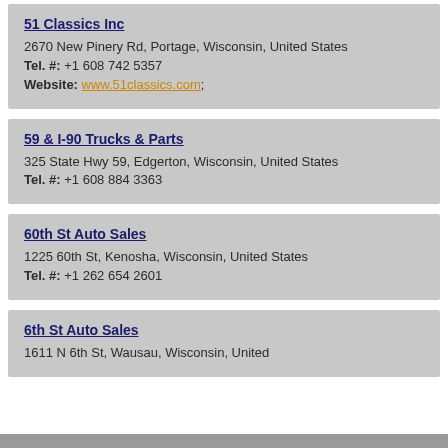51 Classics Inc
2670 New Pinery Rd, Portage, Wisconsin, United States
Tel. #: +1 608 742 5357
Website: www.51classics.com;
59 & I-90 Trucks & Parts
325 State Hwy 59, Edgerton, Wisconsin, United States
Tel. #: +1 608 884 3363
60th St Auto Sales
1225 60th St, Kenosha, Wisconsin, United States
Tel. #: +1 262 654 2601
6th St Auto Sales
1611 N 6th St, Wausau, Wisconsin, United